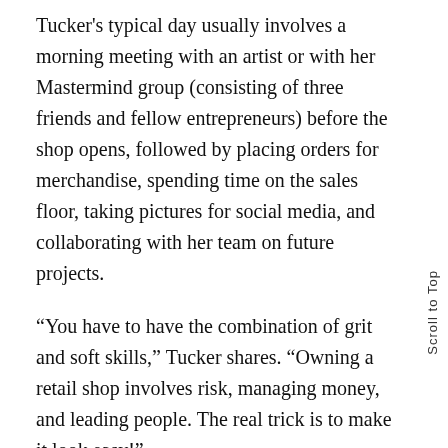Tucker's typical day usually involves a morning meeting with an artist or with her Mastermind group (consisting of three friends and fellow entrepreneurs) before the shop opens, followed by placing orders for merchandise, spending time on the sales floor, taking pictures for social media, and collaborating with her team on future projects.
“You have to have the combination of grit and soft skills,” Tucker shares. “Owning a retail shop involves risk, managing money, and leading people. The real trick is to make it look easy!”
One of Tucker’s first business ventures was reselling fireworks. In elementary school, she would buy up as many grosses of bottle rockets as she could afford after